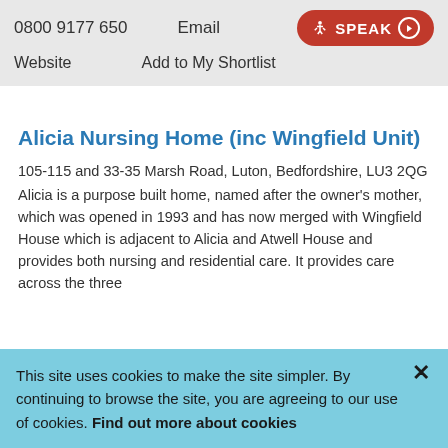0800 9177 650
Email
SPEAK
Website
Add to My Shortlist
Alicia Nursing Home (inc Wingfield Unit)
105-115 and 33-35 Marsh Road, Luton, Bedfordshire, LU3 2QG
Alicia is a purpose built home, named after the owner’s mother, which was opened in 1993 and has now merged with Wingfield House which is adjacent to Alicia and Atwell House and provides both nursing and residential care. It provides care across the three
This site uses cookies to make the site simpler. By continuing to browse the site, you are agreeing to our use of cookies. Find out more about cookies